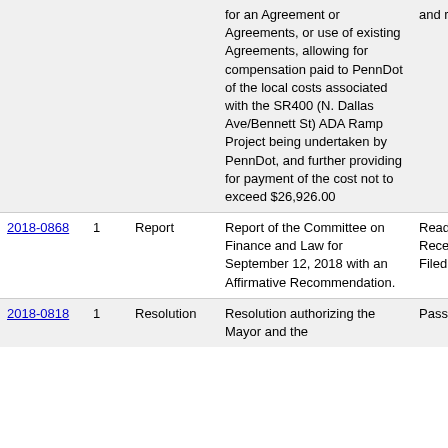| File # | Ver. | Type | Name/Title | Action |
| --- | --- | --- | --- | --- |
|  |  |  | for an Agreement or Agreements, or use of existing Agreements, allowing for compensation paid to PennDot of the local costs associated with the SR400 (N. Dallas Ave/Bennett St) ADA Ramp Project being undertaken by PennDot, and further providing for payment of the cost not to exceed $26,926.00 | and referred |
| 2018-0868 | 1 | Report | Report of the Committee on Finance and Law for September 12, 2018 with an Affirmative Recommendation. | Read, Received and Filed |
| 2018-0818 | 1 | Resolution | Resolution authorizing the Mayor and the | Passed Finally |